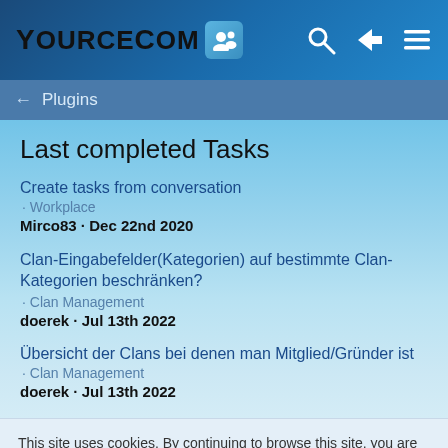YoureCom
← Plugins
Last completed Tasks
Create tasks from conversation
· Workplace
Mirco83 · Dec 22nd 2020
Clan-Eingabefelder(Kategorien) auf bestimmte Clan-Kategorien beschränken?
· Clan Management
doerek · Jul 13th 2022
Übersicht der Clans bei denen man Mitglied/Gründer ist
· Clan Management
doerek · Jul 13th 2022
This site uses cookies. By continuing to browse this site, you are agreeing to our use of cookies.
More Details  Close